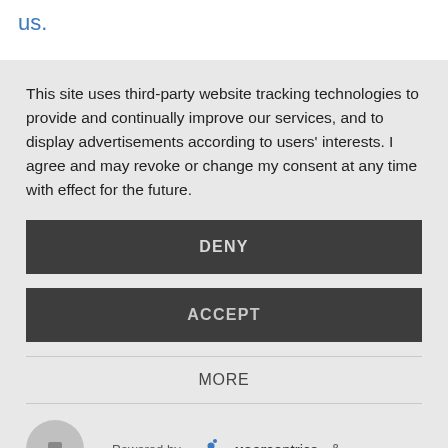us.
This site uses third-party website tracking technologies to provide and continually improve our services, and to display advertisements according to users' interests. I agree and may revoke or change my consent at any time with effect for the future.
DENY
ACCEPT
MORE
Powered by usercentrics &